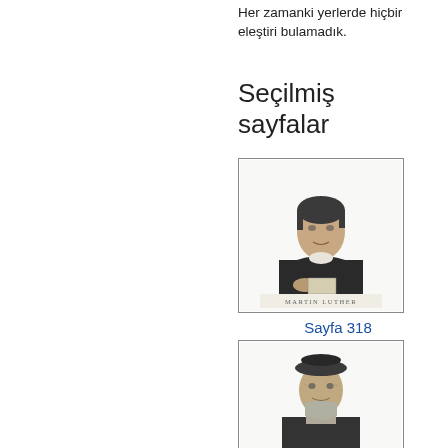Her zamanki yerlerde hiçbir eleştiri bulamadık.
Seçilmiş sayfalar
[Figure (illustration): Portrait engraving of a historical figure (Martin Luther) seated, wearing robes, with caption text below reading 'MARTIN LUTHER']
Sayfa 318
[Figure (illustration): Portrait engraving of an elderly bearded man wearing a hat, identified as a historical religious reformer]